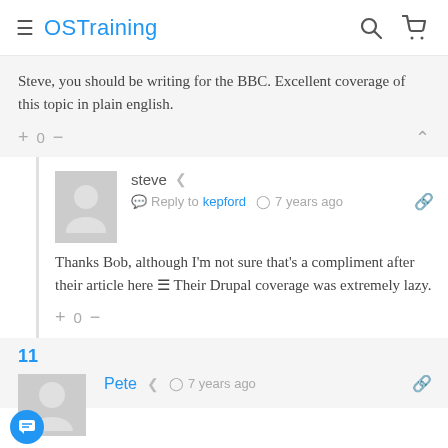OSTraining
Steve, you should be writing for the BBC. Excellent coverage of this topic in plain english.
steve  Reply to kepford  7 years ago
Thanks Bob, although I'm not sure that's a compliment after their article here ☰ Their Drupal coverage was extremely lazy.
11
Pete  7 years ago